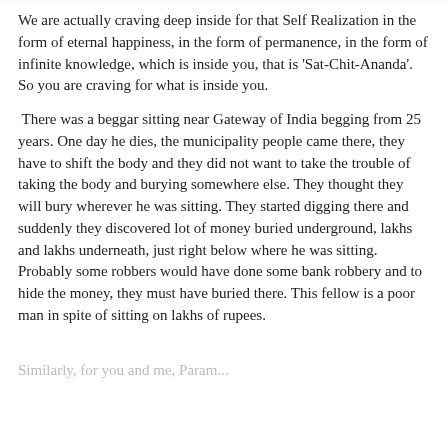We are actually craving deep inside for that Self Realization in the form of eternal happiness, in the form of permanence, in the form of infinite knowledge, which is inside you, that is 'Sat-Chit-Ananda'. So you are craving for what is inside you.
There was a beggar sitting near Gateway of India begging from 25 years. One day he dies, the municipality people came there, they have to shift the body and they did not want to take the trouble of taking the body and burying somewhere else. They thought they will bury wherever he was sitting. They started digging there and suddenly they discovered lot of money buried underground, lakhs and lakhs underneath, just right below where he was sitting. Probably some robbers would have done some bank robbery and to hide the money, they must have buried there. This fellow is a poor man in spite of sitting on lakhs of rupees.
Similarly, for you and me, Param...[text cut off]
Privacy & Cookies: This site uses cookies. By continuing to use this website, you agree to their use.
To find out more, including how to control cookies, see here: Cookie Policy